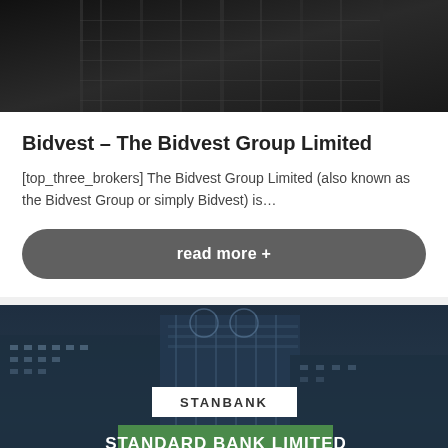[Figure (photo): Dark architectural photo of a building exterior with dark tones, taken from a low angle looking up.]
Bidvest – The Bidvest Group Limited
[top_three_brokers] The Bidvest Group Limited (also known as the Bidvest Group or simply Bidvest) is…
read more +
[Figure (photo): Dark night photo of a modern glass office building with Standard Bank logo on top. Overlaid text: STANBANK label in white box and STANDARD BANK LIMITED in green banner.]